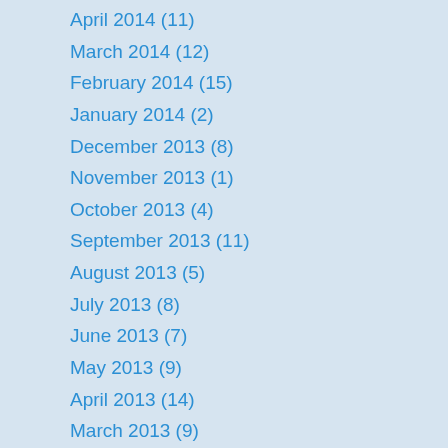April 2014 (11)
March 2014 (12)
February 2014 (15)
January 2014 (2)
December 2013 (8)
November 2013 (1)
October 2013 (4)
September 2013 (11)
August 2013 (5)
July 2013 (8)
June 2013 (7)
May 2013 (9)
April 2013 (14)
March 2013 (9)
February 2013 (5)
January 2013 (2)
December 2012 (3)
November 2012 (4)
October 2012 (3)